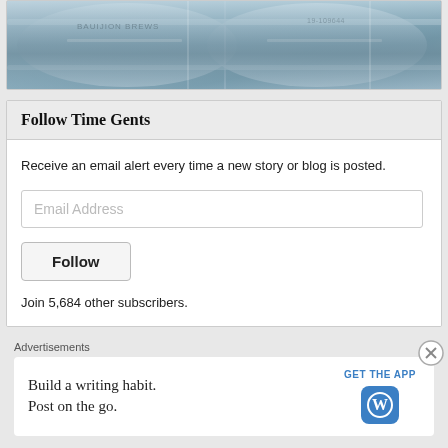[Figure (photo): Photo of metal beer kegs, silver/grey colored, showing tops with text markings partially visible]
Follow Time Gents
Receive an email alert every time a new story or blog is posted.
Join 5,684 other subscribers.
Advertisements
Build a writing habit. Post on the go.
GET THE APP